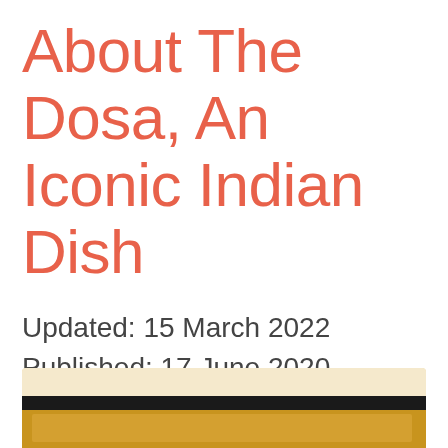About The Dosa, An Iconic Indian Dish
Updated: 15 March 2022
Published: 17 June 2020
by Guest Writer
[Figure (photo): Partial view of a dosa dish, showing a golden-brown crispy dosa on a plate, cropped at bottom of page]